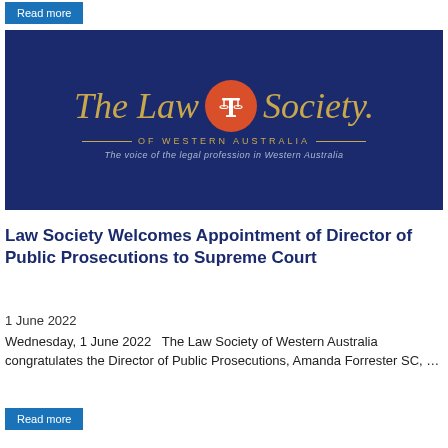Read more
[Figure (logo): The Law Society of Western Australia logo on dark navy blue background. Gold italic serif text 'The Law Society.' with an orange circular emblem containing a white scales of justice icon between the words 'Law' and 'Society'. Below: 'OF WESTERN AUSTRALIA' in gold spaced caps with decorative lines, and tagline 'The voice of the legal profession in Western Australia' in light italic text.]
Law Society Welcomes Appointment of Director of Public Prosecutions to Supreme Court
1 June 2022
Wednesday, 1 June 2022   The Law Society of Western Australia congratulates the Director of Public Prosecutions, Amanda Forrester SC, …
Read more